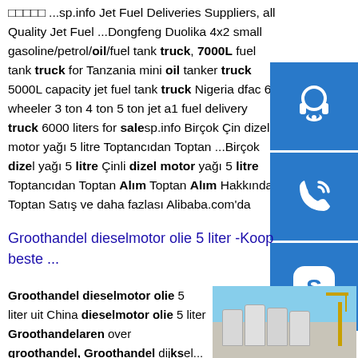□□□□□ ...sp.info Jet Fuel Deliveries Suppliers, all Quality Jet Fuel ...Dongfeng Duolika 4x2 small gasoline/petrol/oil/fuel tank truck, 7000L fuel tank truck for Tanzania mini oil tanker truck 5000L capacity jet fuel tank truck Nigeria dfac 6 wheeler 3 ton 4 ton 5 ton jet a1 fuel delivery truck 6000 liters for salesp.info Birçok Çin dizel motor yağı 5 litre Toptancıdan Toptan ...Birçok dizel yağı 5 litre Çinli dizel motor yağı 5 litre Toptancıdan Toptan Alım Toptan Alım Hakkında, Toptan Satış ve daha fazlası Alibaba.com'da
[Figure (infographic): Three blue square icon buttons stacked vertically on the right side: headset/customer service icon, phone/call icon, Skype icon]
Groothandel dieselmotor olie 5 liter -Koop beste ...
Groothandel dieselmotor olie 5 liter uit China dieselmotor olie 5 liter Groothandelaren over groothandel, Groothandel dijksel...
[Figure (photo): Industrial storage silos/tanks at a construction or industrial facility with a crane, blue sky background]